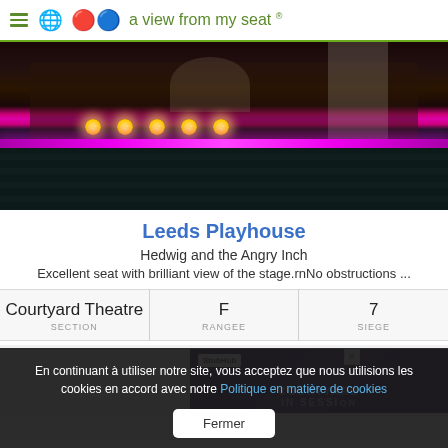a view from my seat ®
[Figure (photo): Interior concert venue photo showing stage with drum kit, stage lights, bright purple/magenta LED strip along front of stage, and dark seating rows in foreground]
Leeds Playhouse
Hedwig and the Angry Inch
Excellent seat with brilliant view of the stage.rnNo obstructions ...
| Courtyard Theatre | F | 7 |
| --- | --- | --- |
| SECTION | RANGEE | SIEGE |
[Figure (screenshot): StubHub advertisement banner with dark purple background and text COURTYARD IN SESSION]
En continuant à utiliser notre site, vous acceptez que nous utilisions les cookies en accord avec notre Politique en matière de cookies